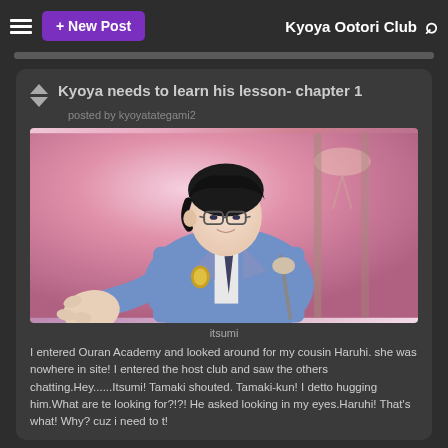+ New Post | Kyoya Ootori Club
Kyoya needs to learn his lesson- chapter 1
posted by kyoyatategami2
[Figure (illustration): Anime illustration of Kyoya Ootori from Ouran High School Host Club, wearing blue blazer uniform with glasses, reaching out with one hand, pink background with chandeliers]
itsumi
I entered Ouran Academy and looked around for my cousin Haruhi. she was nowhere in site! I entered the host club and saw the others chatting.Hey......Itsumi! Tamaki shouted. Tamaki-kun! I detto hugging him.What are te looking for?!?! He asked looking in my eyes.Haruhi! That's what! Why? cuz i need to t!